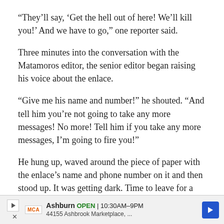“They’ll say, ‘Get the hell out of here! We’ll kill you!’ And we have to go,” one reporter said.
Three minutes into the conversation with the Matamoros editor, the senior editor began raising his voice about the enlace.
“Give me his name and number!” he shouted. “And tell him you’re not going to take any more messages! No more! Tell him if you take any more messages, I’m going to fire you!”
He hung up, waved around the piece of paper with the enlace’s name and phone number on it and then stood up. It was getting dark. Time to leave for a safer city.
[Figure (other): Advertisement banner: Ashburn OPEN 10:30AM-9PM, 44155 Ashbrook Marketplace, with McAlister's Deli logo and map arrow icon]